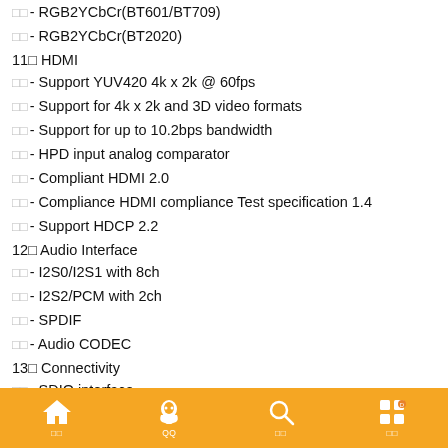□□- RGB2YCbCr(BT601/BT709)
□□- RGB2YCbCr(BT2020)
11□ HDMI
□□- Support YUV420 4k x 2k @ 60fps
□□- Support for 4k x 2k and 3D video formats
□□- Support for up to 10.2bps bandwidth
□□- HPD input analog comparator
□□- Compliant HDMI 2.0
□□- Compliance HDMI compliance Test specification 1.4
□□- Support HDCP 2.2
12□ Audio Interface
□□- I2S0/I2S1 with 8ch
□□- I2S2/PCM with 2ch
□□- SPDIF
□□- Audio CODEC
13□ Connectivity
□□- SDIO interface
□□- TS interface
□□- Smart Card
Navigation bar with home, QQ, search, and apps icons